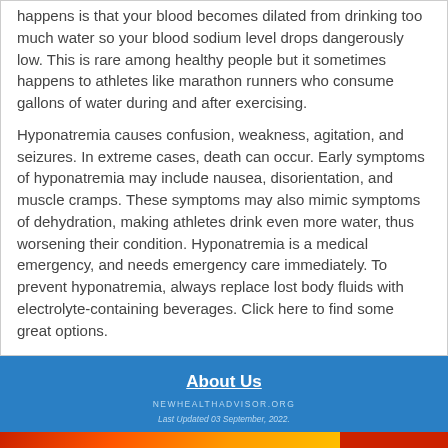happens is that your blood becomes dilated from drinking too much water so your blood sodium level drops dangerously low. This is rare among healthy people but it sometimes happens to athletes like marathon runners who consume gallons of water during and after exercising.
Hyponatremia causes confusion, weakness, agitation, and seizures. In extreme cases, death can occur. Early symptoms of hyponatremia may include nausea, disorientation, and muscle cramps. These symptoms may also mimic symptoms of dehydration, making athletes drink even more water, thus worsening their condition. Hyponatremia is a medical emergency, and needs emergency care immediately. To prevent hyponatremia, always replace lost body fluids with electrolyte-containing beverages. Click here to find some great options.
About Us
NEWHEALTHADVISOR.ORG
Last Updated 03 September, 2022.
[Figure (infographic): Advertisement banner for BitLife game showing FAIL text with fire graphics and 'START A NEW LIFE' tagline on dark background]